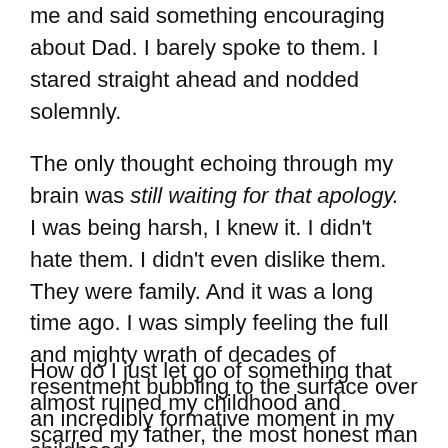me and said something encouraging about Dad. I barely spoke to them. I stared straight ahead and nodded solemnly.
The only thought echoing through my brain was still waiting for that apology. I was being harsh, I knew it. I didn't hate them. I didn't even dislike them. They were family. And it was a long time ago. I was simply feeling the full and mighty wrath of decades of resentment bubbling to the surface over an incredibly formative moment in my childhood.
How do I just let go of something that almost ruined my childhood and scarred my father, the most honest man I ever met, for life?